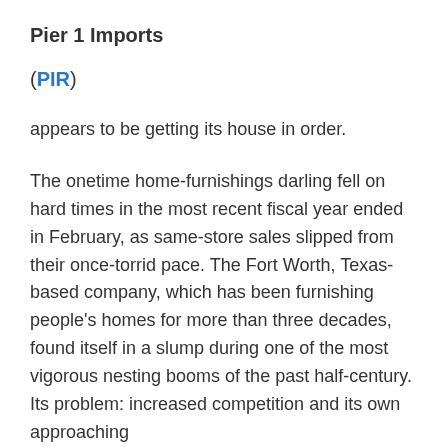Pier 1 Imports
(PIR)
appears to be getting its house in order.
The onetime home-furnishings darling fell on hard times in the most recent fiscal year ended in February, as same-store sales slipped from their once-torrid pace. The Fort Worth, Texas-based company, which has been furnishing people's homes for more than three decades, found itself in a slump during one of the most vigorous nesting booms of the past half-century. Its problem: increased competition and its own approaching